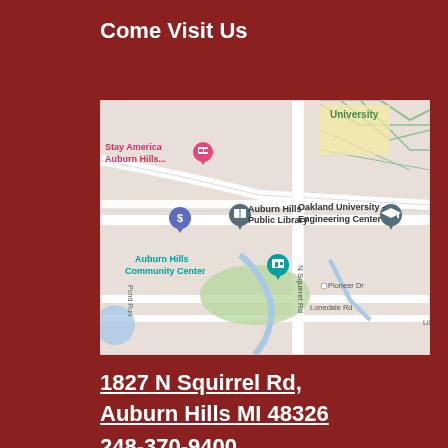Come Visit Us
[Figure (map): Google Maps screenshot showing Auburn Hills Public Library at 1827 N Squirrel Rd, Auburn Hills MI. Map shows nearby landmarks including Stay America Auburn Hills, Auburn Hills Community Center, Oakland University Engineering Center, and street labels including N Squirrel Rd, Pond Run, Pioneer Dr, Lonedale Rd.]
1827 N Squirrel Rd,
Auburn Hills MI 48326
248-370-9400